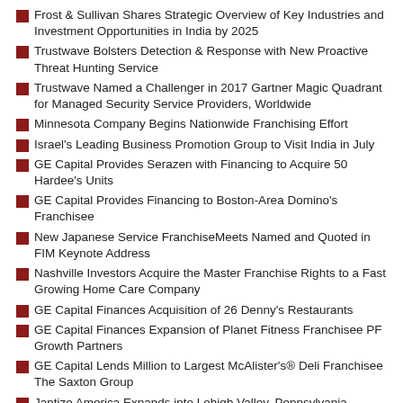Frost & Sullivan Shares Strategic Overview of Key Industries and Investment Opportunities in India by 2025
Trustwave Bolsters Detection & Response with New Proactive Threat Hunting Service
Trustwave Named a Challenger in 2017 Gartner Magic Quadrant for Managed Security Service Providers, Worldwide
Minnesota Company Begins Nationwide Franchising Effort
Israel's Leading Business Promotion Group to Visit India in July
GE Capital Provides Serazen with Financing to Acquire 50 Hardee's Units
GE Capital Provides Financing to Boston-Area Domino's Franchisee
New Japanese Service FranchiseMeets Named and Quoted in FIM Keynote Address
Nashville Investors Acquire the Master Franchise Rights to a Fast Growing Home Care Company
GE Capital Finances Acquisition of 26 Denny's Restaurants
GE Capital Finances Expansion of Planet Fitness Franchisee PF Growth Partners
GE Capital Lends Million to Largest McAlister's® Deli Franchisee The Saxton Group
Jantize America Expands into Lehigh Valley, Pennsylvania
FranVest Management EB-5 Direct Investment Managed Franchise